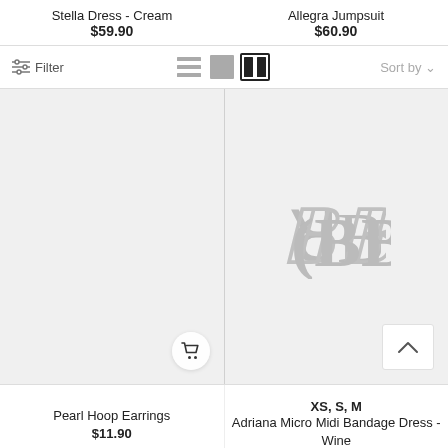Stella Dress - Cream
$59.90
Allegra Jumpsuit
$60.90
Filter  Sort by
[Figure (screenshot): E-commerce product grid showing two product image placeholders. Left cell is empty (light gray). Right cell shows a BB brand watermark logo in gray. Left cell has a shopping cart button overlay. Right cell has an up-arrow scroll-to-top button.]
Pearl Hoop Earrings
$11.90
XS, S, M
Adriana Micro Midi Bandage Dress - Wine